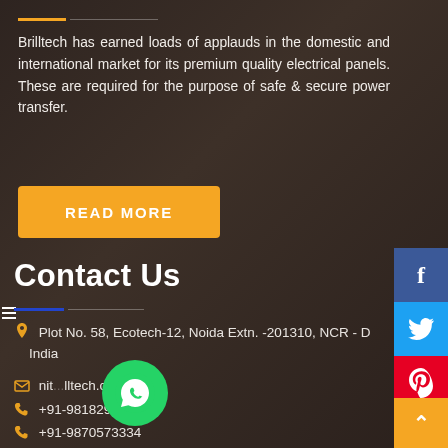Brilltech has earned loads of applauds in the domestic and international market for its premium quality electrical panels. These are required for the purpose of safe & secure power transfer.
READ MORE
Contact Us
Plot No. 58, Ecotech-12, Noida Extn. -201310, NCR - D India
nit...lltech.co.in
+91-9818292266
+91-9870573334